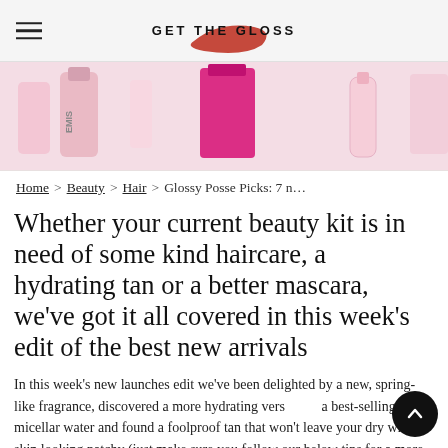GET THE GLOSS
[Figure (photo): Beauty product flatlay showing pink and magenta nail polish or fragrance bottles including EMIS brand, on a light background]
Home > Beauty > Hair > Glossy Posse Picks: 7 n...
Whether your current beauty kit is in need of some kind haircare, a hydrating tan or a better mascara, we've got it all covered in this week's edit of the best new arrivals
In this week's new launches edit we've been delighted by a new, spring-like fragrance, discovered a more hydrating vers… a best-selling micellar water and found a foolproof tan that won't leave your dry winter skin looking patchy (just make sure you follow our below tips for a more even application). Also, don't…